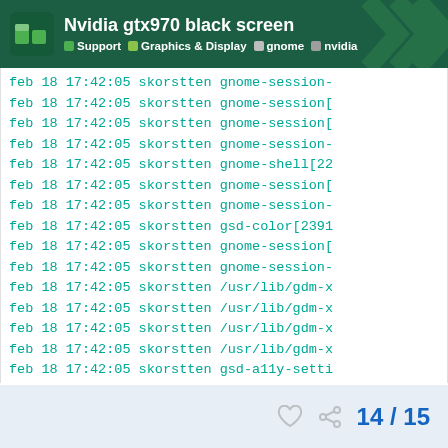Nvidia gtx970 black screen | Support | Graphics & Display | gnome | nvidia
feb 18 17:42:05 skorstten gnome-session-
feb 18 17:42:05 skorstten gnome-session[
feb 18 17:42:05 skorstten gnome-session[
feb 18 17:42:05 skorstten gnome-session-
feb 18 17:42:05 skorstten gnome-shell[22
feb 18 17:42:05 skorstten gnome-session[
feb 18 17:42:05 skorstten gnome-session-
feb 18 17:42:05 skorstten gsd-color[2391
feb 18 17:42:05 skorstten gnome-session[
feb 18 17:42:05 skorstten gnome-session-
feb 18 17:42:05 skorstten /usr/lib/gdm-x
feb 18 17:42:05 skorstten /usr/lib/gdm-x
feb 18 17:42:05 skorstten /usr/lib/gdm-x
feb 18 17:42:05 skorstten /usr/lib/gdm-x
feb 18 17:42:05 skorstten gsd-a11y-setti
14 / 15